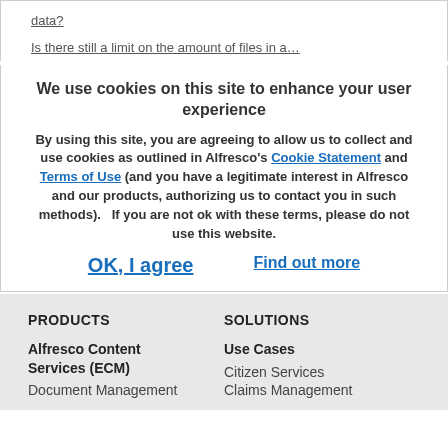data?
Is there still a limit on the amount of files in a…
We use cookies on this site to enhance your user experience
By using this site, you are agreeing to allow us to collect and use cookies as outlined in Alfresco's Cookie Statement and Terms of Use (and you have a legitimate interest in Alfresco and our products, authorizing us to contact you in such methods).   If you are not ok with these terms, please do not use this website.
OK, I agree
Find out more
PRODUCTS
SOLUTIONS
Alfresco Content Services (ECM)
Document Management
Use Cases
Citizen Services
Claims Management